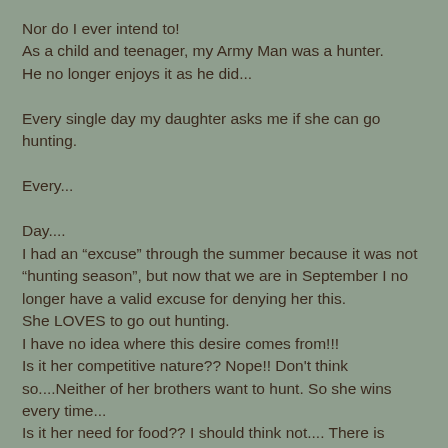Nor do I ever intend to!
As a child and teenager, my Army Man was a hunter.
He no longer enjoys it as he did...

Every single day my daughter asks me if she can go hunting.

Every...

Day....
I had an “excuse” through the summer because it was not “hunting season”, but now that we are in September I no longer have a valid excuse for denying her this.
She LOVES to go out hunting.
I have no idea where this desire comes from!!!
Is it her competitive nature?? Nope!! Don’t think so....Neither of her brothers want to hunt. So she wins every time...
Is it her need for food?? I should think not.... There is plenty of food in this house!!!  I have to feed 3 kids that are 11, 13 (in Oct.), 15 (in Nov.)!!!!!

I just do not understand.....